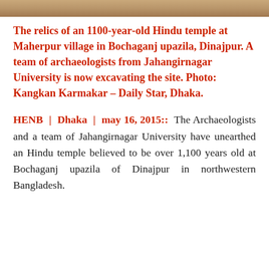[Figure (photo): A photo strip showing the relics of an 1100-year-old Hindu temple site — sandy/earthy tones visible at the top of the page.]
The relics of an 1100-year-old Hindu temple at Maherpur village in Bochaganj upazila, Dinajpur. A team of archaeologists from Jahangirnagar University is now excavating the site. Photo: Kangkan Karmakar – Daily Star, Dhaka.
HENB | Dhaka | may 16, 2015:: The Archaeologists and a team of Jahangirnagar University have unearthed an Hindu temple believed to be over 1,100 years old at Bochaganj upazila of Dinajpur in northwestern Bangladesh.